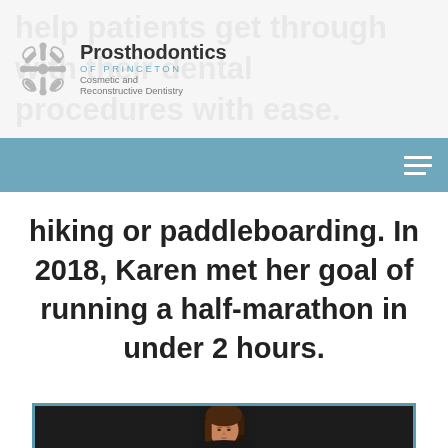Prosthodontics of Princeton — Cosmetic and Reconstructive Dentistry
help patients get through with their dental procedures with ease. When she's not in the
hiking or paddleboarding. In 2018, Karen met her goal of running a half-marathon in under 2 hours.
[Figure (photo): Portrait photo of a woman with brown hair, smiling, wearing dark clothing, against a dark background]
Accessibility